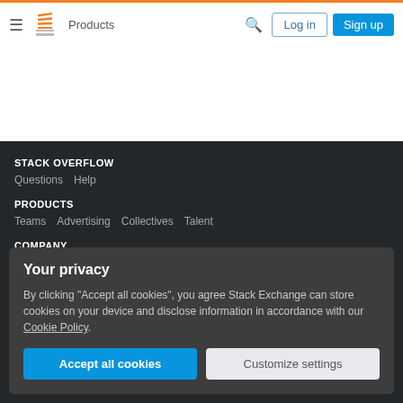≡ [Stack Overflow logo] Products 🔍 Log in Sign up
STACK OVERFLOW
Questions   Help
PRODUCTS
Teams   Advertising   Collectives   Talent
COMPANY
Your privacy
By clicking "Accept all cookies", you agree Stack Exchange can store cookies on your device and disclose information in accordance with our Cookie Policy.
Accept all cookies   Customize settings